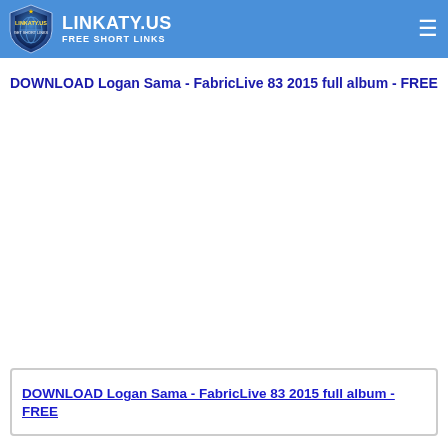LINKATY.US FREE SHORT LINKS
DOWNLOAD Logan Sama - FabricLive 83 2015 full album - FREE
DOWNLOAD Logan Sama - FabricLive 83 2015 full album - FREE